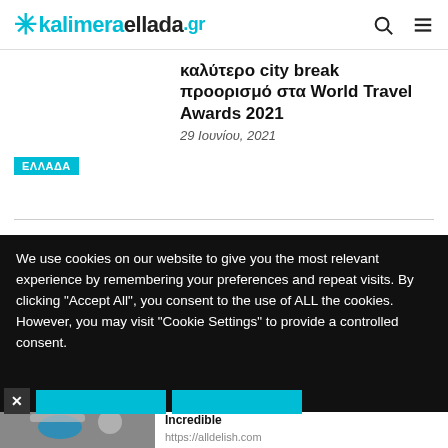kalimeraellada.gr
καλύτερο city break προορισμό στα World Travel Awards 2021
29 Ιουνίου, 2021
ΕΛΛΑΔΑ
Μητσοτάκης σε ΣΕΤΕ: Το καλύτερο όπλο για το καλοκαίρι ο εμβολιασμός
23 Ιουνίου, 2021
We use cookies on our website to give you the most relevant experience by remembering your preferences and repeat visits. By clicking "Accept All", you consent to the use of ALL the cookies. However, you may visit "Cookie Settings" to provide a controlled consent.
44 Healthy Low-Carb Foods That Taste Incredible
https://alldelish.com